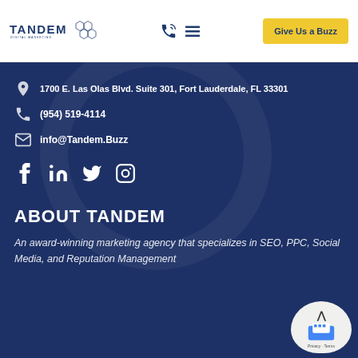[Figure (logo): Tandem Digital Marketing logo with hexagon graphic]
Give Us a Buzz
1700 E. Las Olas Blvd. Suite 301, Fort Lauderdale, FL 33301
(954) 519-4114
info@Tandem.Buzz
[Figure (infographic): Social media icons: Facebook, LinkedIn, Twitter, Instagram]
ABOUT TANDEM
An award-winning marketing agency that specializes in SEO, PPC, Social Media, and Reputation Management